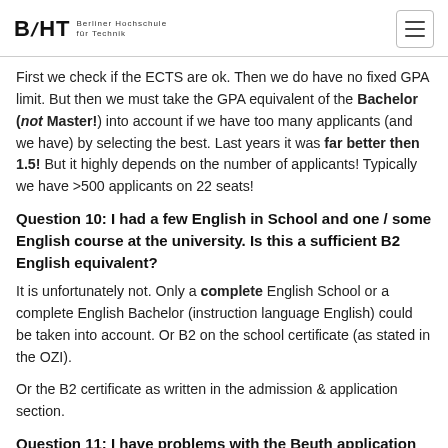BHT Berliner Hochschule für Technik
First we check if the ECTS are ok. Then we do have no fixed GPA limit. But then we must take the GPA equivalent of the Bachelor (not Master!) into account if we have too many applicants (and we have) by selecting the best. Last years it was far better then 1.5! But it highly depends on the number of applicants! Typically we have >500 applicants on 22 seats!
Question 10: I had a few English in School and one / some English course at the university. Is this a sufficient B2 English equivalent?
It is unfortunately not. Only a complete English School or a complete English Bachelor (instruction language English) could be taken into account. Or B2 on the school certificate (as stated in the OZI).
Or the B2 certificate as written in the admission & application section.
Question 11: I have problems with the Beuth application system!
Please have a look at the red error message below in the system.